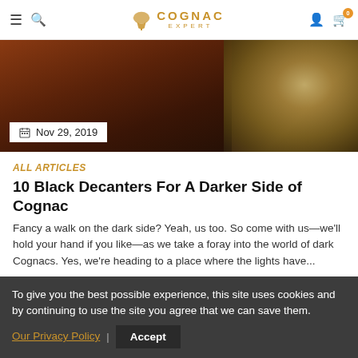Cognac Expert — site navigation header with hamburger menu, search, logo, user account, and cart icons
[Figure (photo): Dark atmospheric photo of Cognac bottles/decanters with warm brown tones, with a white date label overlay showing Nov 29, 2019]
ALL ARTICLES
10 Black Decanters For A Darker Side of Cognac
Fancy a walk on the dark side? Yeah, us too. So come with us—we'll hold your hand if you like—as we take a foray into the world of dark Cognacs. Yes, we're heading to a place where the lights have...
To give you the best possible experience, this site uses cookies and by continuing to use the site you agree that we can save them. Our Privacy Policy | Accept